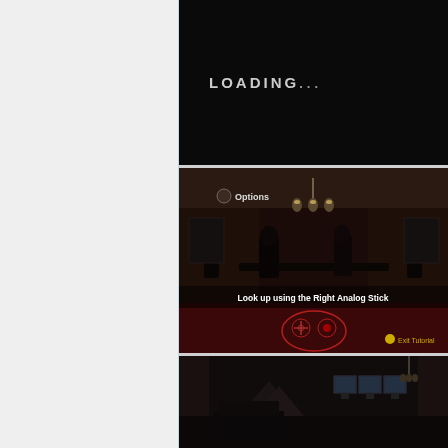[Figure (screenshot): Black loading screen with 'LOADING...' text in white/gray on dark background]
[Figure (screenshot): Dark atmospheric game scene showing a room with chandelier and seated figures. Text overlay reads 'Look up using the Right Analog Stick' with a game controller diagram and 'Exit Tutorial' button. Top left shows 'Options' menu item.]
[Figure (screenshot): Dark game scene with monitors/screens visible in the background and a chandelier, partial view]